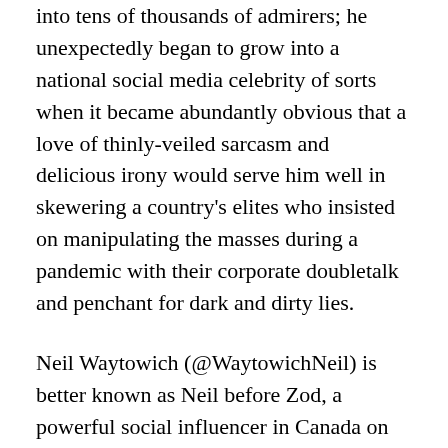into tens of thousands of admirers; he unexpectedly began to grow into a national social media celebrity of sorts when it became abundantly obvious that a love of thinly-veiled sarcasm and delicious irony would serve him well in skewering a country's elites who insisted on manipulating the masses during a pandemic with their corporate doubletalk and penchant for dark and dirty lies.
Neil Waytowich (@WaytowichNeil) is better known as Neil before Zod, a powerful social influencer in Canada on all things related to ideological politics and humanistic philosophy. When it comes to dissecting the truth and exposing hypocrisy in all forms, Neil is a throwback to an era where you were called out for bullshit and forced to pay the piper. He's a true empiricist living in an era where superstition and conspiracies may run amok like galactic villains, but if they happen to cross the path of this pseudo-